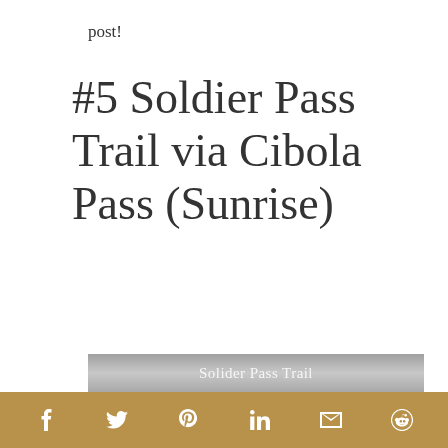post!
#5 Soldier Pass Trail via Cibola Pass (Sunrise)
Solider Pass Trail
f  twitter  pinterest  in  email  reddit